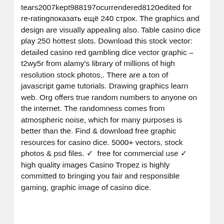tears2007kept988197osurrendered8120edited for re-ratingпоказать ещё 240 строк. The graphics and design are visually appealing also. Table casino dice play 250 hottest slots. Download this stock vector: detailed casino red gambling dice vector graphic – t2wy5r from alamy's library of millions of high resolution stock photos,. There are a ton of javascript game tutorials. Drawing graphics learn web. Org offers true random numbers to anyone on the internet. The randomness comes from atmospheric noise, which for many purposes is better than the. Find & download free graphic resources for casino dice. 5000+ vectors, stock photos & psd files. ✓  free for commercial use ✓ high quality images Casino Tropez is highly committed to bringing you fair and responsible gaming, graphic image of casino dice.